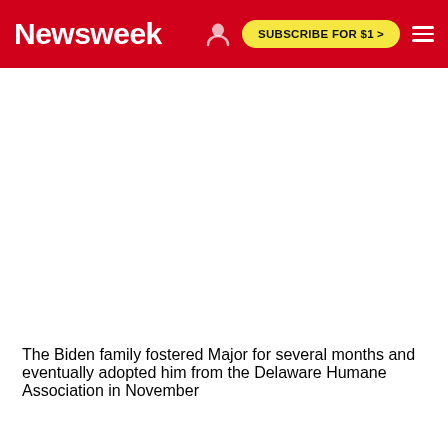Newsweek  SUBSCRIBE FOR $1 >
[Figure (photo): White/blank image area below the navigation header]
The Biden family fostered Major for several months and eventually adopted him from the Delaware Humane Association in November